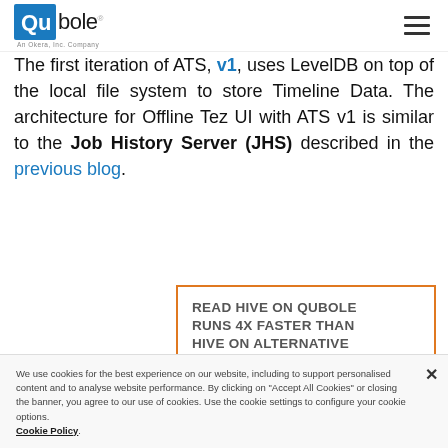Qubole — An Okera Company [logo] [hamburger menu]
The first iteration of ATS, v1, uses LevelDB on top of the local file system to store Timeline Data. The architecture for Offline Tez UI with ATS v1 is similar to the Job History Server (JHS) described in the previous blog.
READ HIVE ON QUBOLE RUNS 4X FASTER THAN HIVE ON ALTERNATIVE PLATFORMS
We use cookies for the best experience on our website, including to support personalised content and to analyse website performance. By clicking on "Accept All Cookies" or closing the banner, you agree to our use of cookies. Use the cookie settings to configure your cookie options. Cookie Policy.